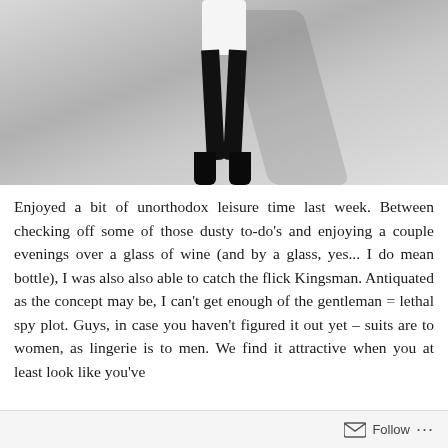[Figure (photo): Black and white photograph showing lower half of a person wearing black skinny pants, a white top (cropped), and black high-heel boots, standing against a light concrete wall with shadow cast to the right.]
Enjoyed a bit of unorthodox leisure time last week. Between checking off some of those dusty to-do's and enjoying a couple evenings over a glass of wine (and by a glass, yes... I do mean bottle), I was also also able to catch the flick Kingsman. Antiquated as the concept may be, I can't get enough of the gentleman = lethal spy plot. Guys, in case you haven't figured it out yet – suits are to women, as lingerie is to men. We find it attractive when you at least look like you've
Follow ···